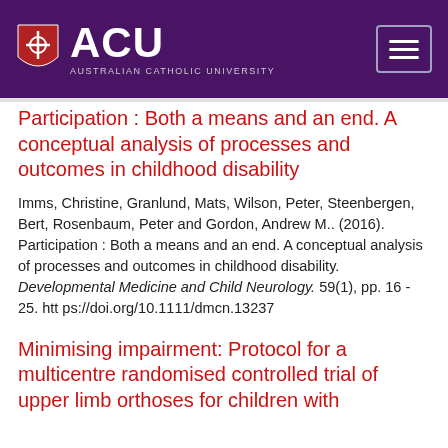ACU - Australian Catholic University
Participation : Both a means and an end. A conceptual analysis of processes and outcomes in childhood disability
Imms, Christine, Granlund, Mats, Wilson, Peter, Steenbergen, Bert, Rosenbaum, Peter and Gordon, Andrew M.. (2016). Participation : Both a means and an end. A conceptual analysis of processes and outcomes in childhood disability. Developmental Medicine and Child Neurology. 59(1), pp. 16 - 25. https://doi.org/10.1111/dmcn.13237
Minimising impairment: Protocol for a multicentre randomised controlled trial of upper limb orthoses for children with